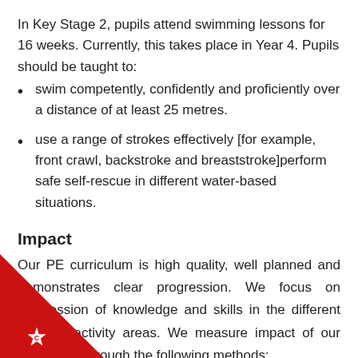In Key Stage 2, pupils attend swimming lessons for 16 weeks. Currently, this takes place in Year 4. Pupils should be taught to:
swim competently, confidently and proficiently over a distance of at least 25 metres.
use a range of strokes effectively [for example, front crawl, backstroke and breaststroke]perform safe self-rescue in different water-based situations.
Impact
Our PE curriculum is high quality, well planned and demonstrates clear progression. We focus on progression of knowledge and skills in the different physical activity areas. We measure impact of our curriculum through the following methods:
is of standards achieved against the planned